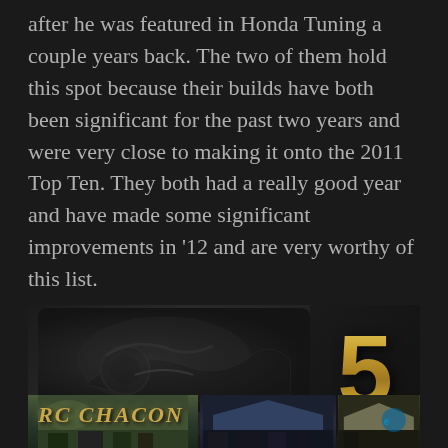after he was featured in Honda Tuning a couple years back. The two of them hold this spot because their builds have both been significant for the past two years and were very close to making it onto the 2011 Top Ten. They both had a really good year and have made some significant improvements in '12 and are very worthy of this list.
[Figure (illustration): Banner image with dark background showing engine/car parts on left side, stylized graffiti-style text 'RC CHACON' in gold/yellow on left, and large gold metallic number '5' on the right side.]
[Figure (photo): Strip of three photos at the bottom showing outdoor car show or event scenes with people, tents/canopies, and vehicles visible.]